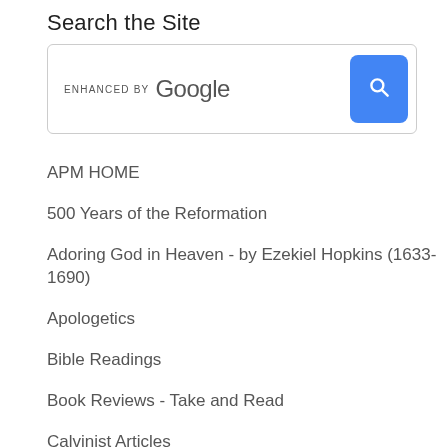Search the Site
[Figure (screenshot): Google custom search box with 'ENHANCED BY Google' label and a blue search button with magnifying glass icon]
APM HOME
500 Years of the Reformation
Adoring God in Heaven - by Ezekiel Hopkins (1633-1690)
Apologetics
Bible Readings
Book Reviews - Take and Read
Calvinist Articles
Christian Stewardship - What Every Christian Needs to Know